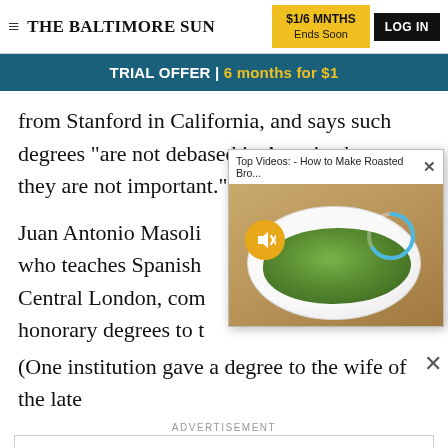THE BALTIMORE SUN | $1/6 MNTHS Ends Soon | LOG IN
TRIAL OFFER | 6 months for $1
from Stanford in California, and says such degrees "are not debased in America because they are not important."
[Figure (screenshot): Video popup overlay showing 'Top Videos: - How to Make Roasted Bro...' with a photo of roasted broccoli on a white plate, a mute button icon, and a circular progress indicator]
Juan Antonio Masoli... who teaches Spanish... Central London, com... honorary degrees to t...
(One institution gave a degree to the wife of the late
ADVERTISEMENT
[Figure (screenshot): Advertisement banner for Tribune Publishing: 'Advertise 1-' with Tribune Publishing logo]